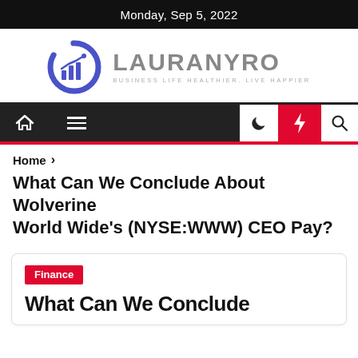Monday, Sep 5, 2022
[Figure (logo): Lauranyro logo: circular chart icon in blue/purple with bar and line chart graphic, next to text 'LAURANYRO' in large grey letters and tagline 'BUSINESS LIFE HEALTHIER. LIVE HAPPIER']
Home > What Can We Conclude About Wolverine World Wide's (NYSE:WWW) CEO Pay?
What Can We Conclude About Wolverine World Wide's (NYSE:WWW) CEO Pay?
Finance
What Can We Conclude